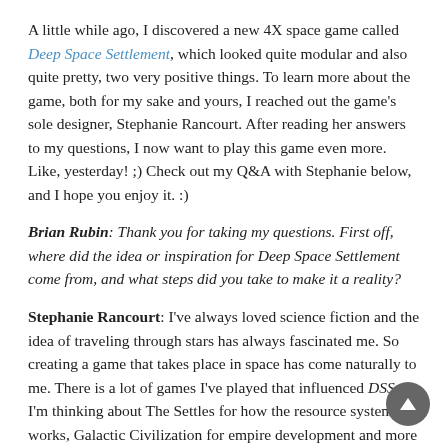A little while ago, I discovered a new 4X space game called Deep Space Settlement, which looked quite modular and also quite pretty, two very positive things. To learn more about the game, both for my sake and yours, I reached out the game's sole designer, Stephanie Rancourt. After reading her answers to my questions, I now want to play this game even more. Like, yesterday! ;) Check out my Q&A with Stephanie below, and I hope you enjoy it. :)
Brian Rubin: Thank you for taking my questions. First off, where did the idea or inspiration for Deep Space Settlement come from, and what steps did you take to make it a reality?
Stephanie Rancourt: I've always loved science fiction and the idea of traveling through stars has always fascinated me. So creating a game that takes place in space has come naturally to me. There is a lot of games I've played that influenced DSS, I'm thinking about The Settles for how the resource system works, Galactic Civilization for empire development and more recently A.I. War for it's strategy elements.
I've started working on DSS two years ago, I made everything